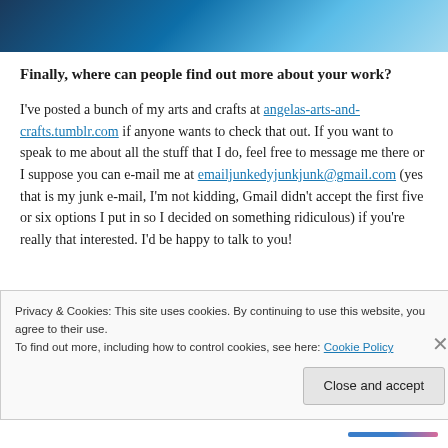[Figure (photo): Dark blue abstract background image at top of page]
Finally, where can people find out more about your work?
I've posted a bunch of my arts and crafts at angelas-arts-and-crafts.tumblr.com if anyone wants to check that out. If you want to speak to me about all the stuff that I do, feel free to message me there or I suppose you can e-mail me at emailjunkedyjunkjunk@gmail.com (yes that is my junk e-mail, I'm not kidding, Gmail didn't accept the first five or six options I put in so I decided on something ridiculous) if you're really that interested. I'd be happy to talk to you!
Privacy & Cookies: This site uses cookies. By continuing to use this website, you agree to their use.
To find out more, including how to control cookies, see here: Cookie Policy
Close and accept